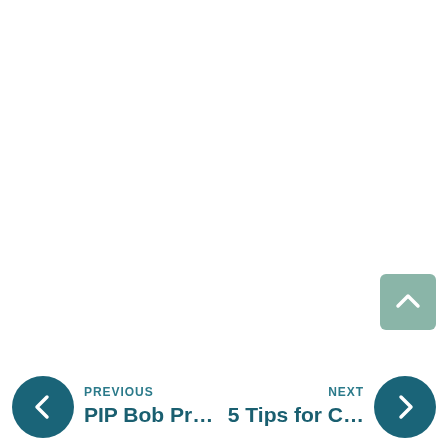PREVIOUS | PIP Bob Pr...   NEXT | 5 Tips for C...
[Figure (illustration): Scroll-to-top button: a sage green rounded rectangle with a white upward-pointing chevron arrow]